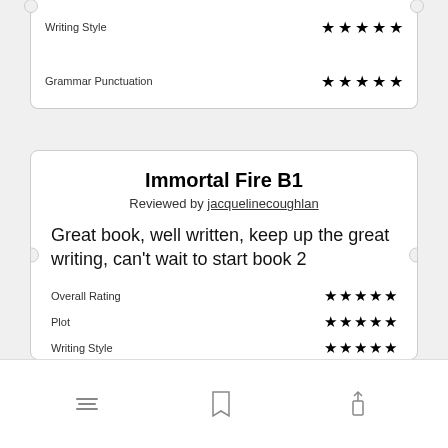Writing Style ★★★★★
Grammar Punctuation ★★★★★
Immortal Fire B1
Reviewed by jacquelinecoughlan
Great book, well written, keep up the great writing, can't wait to start book 2
Overall Rating ★★★★★
Plot ★★★★★
Writing Style ★★★★★
Grammar Punctuation ★★★★★
Open in app